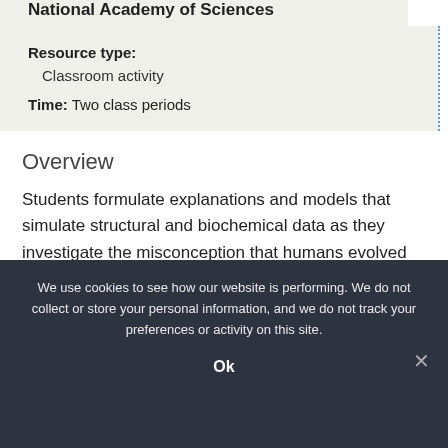National Academy of Sciences
Resource type: Classroom activity
Time: Two class periods
Overview
Students formulate explanations and models that simulate structural and biochemical data as they investigate the misconception that humans evolved
We use cookies to see how our website is performing. We do not collect or store your personal information, and we do not track your preferences or activity on this site.
Ok